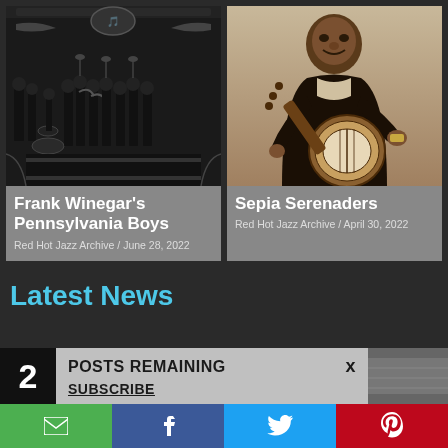[Figure (photo): Black and white photo of Frank Winegar's Pennsylvania Boys jazz band on stage with instruments and decorative backdrop]
Frank Winegar's Pennsylvania Boys
Red Hot Jazz Archive / June 28, 2022
[Figure (photo): Sepia-toned photo of a man smiling and playing a banjo]
Sepia Serenaders
Red Hot Jazz Archive / April 30, 2022
Latest News
2  POSTS REMAINING  x
SUBSCRIBE